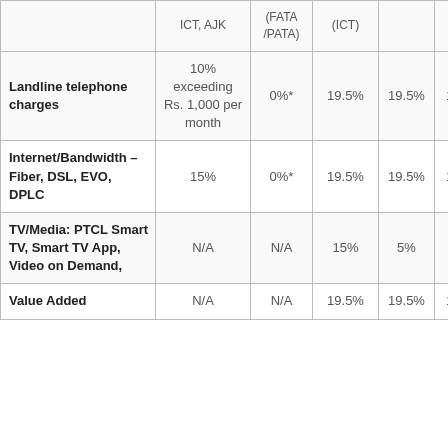|  | ICT, AJK | (FATA /PATA) | (ICT) |  |  |
| --- | --- | --- | --- | --- | --- |
| Landline telephone charges | 10% exceeding Rs. 1,000 per month | 0%* | 19.5% | 19.5% | 19.5% |
| Internet/Bandwidth – Fiber, DSL, EVO, DPLC | 15% | 0%* | 19.5% | 19.5% | 19.5% |
| TV/Media: PTCL Smart TV, Smart TV App, Video on Demand, | N/A | N/A | 15% | 5% | 10% |
| Value Added | N/A | N/A | 19.5% | 19.5% | 19.5% |